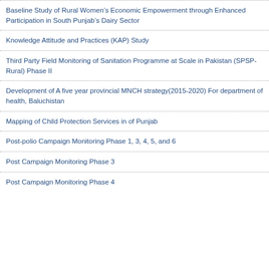Baseline Study of Rural Women’s Economic Empowerment through Enhanced Participation in South Punjab’s Dairy Sector
Knowledge Attitude and Practices (KAP) Study
Third Party Field Monitoring of Sanitation Programme at Scale in Pakistan (SPSP-Rural) Phase II
Development of A five year provincial MNCH strategy(2015-2020) For department of health, Baluchistan
Mapping of Child Protection Services in of Punjab
Post-polio Campaign Monitoring Phase 1, 3, 4, 5, and 6
Post Campaign Monitoring Phase 3
Post Campaign Monitoring Phase 4